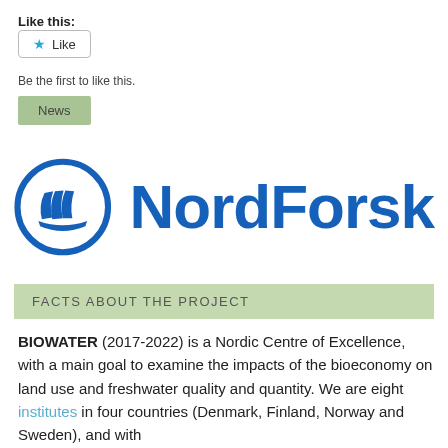Like this:
[Figure (screenshot): Like button with star icon, bordered button UI element]
Be the first to like this.
News
[Figure (logo): NordForsk logo — blue circular icon with stylized pages/sheets and the text NordForsk in bold blue]
FACTS ABOUT THE PROJECT
BIOWATER (2017-2022) is a Nordic Centre of Excellence, with a main goal to examine the impacts of the bioeconomy on land use and freshwater quality and quantity. We are eight institutes in four countries (Denmark, Finland, Norway and Sweden), and with